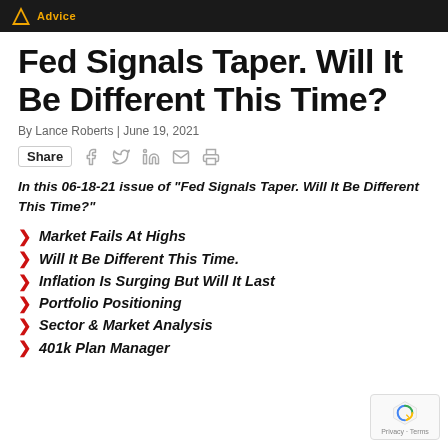Advice
Fed Signals Taper. Will It Be Different This Time?
By Lance Roberts | June 19, 2021
Share
In this 06-18-21 issue of “Fed Signals Taper. Will It Be Different This Time?”
Market Fails At Highs
Will It Be Different This Time.
Inflation Is Surging But Will It Last
Portfolio Positioning
Sector & Market Analysis
401k Plan Manager